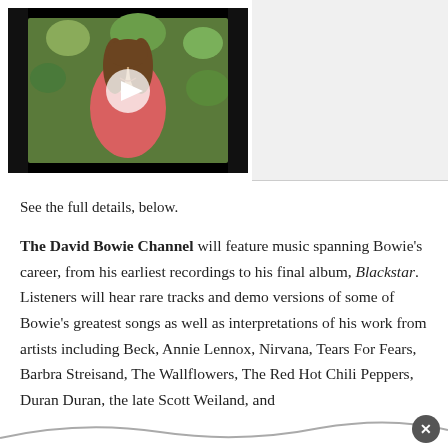[Figure (screenshot): Video thumbnail showing a person in a pink/red top with long hair, smiling, with a play button overlay. Background shows colorful floral elements. Black borders on sides.]
See the full details, below.
The David Bowie Channel will feature music spanning Bowie's career, from his earliest recordings to his final album, Blackstar. Listeners will hear rare tracks and demo versions of some of Bowie's greatest songs as well as interpretations of his work from artists including Beck, Annie Lennox, Nirvana, Tears For Fears, Barbra Streisand, The Wallflowers, The Red Hot Chili Peppers, Duran Duran, the late Scott Weiland, and